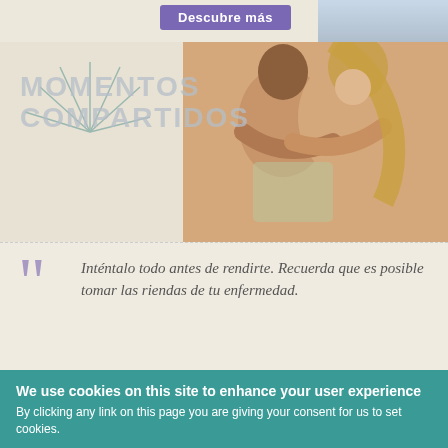[Figure (photo): Top banner with purple 'Descubre más' button and partial photo of person in blue top on right]
[Figure (photo): Two women hugging each other, overlaid with large gray text 'MOMENTOS COMPARTIDOS' and decorative sunburst lines]
Inténtalo todo antes de rendirte. Recuerda que es posible tomar las riendas de tu enfermedad.
LEER MÁS ›
We use cookies on this site to enhance your user experience
By clicking any link on this page you are giving your consent for us to set cookies.